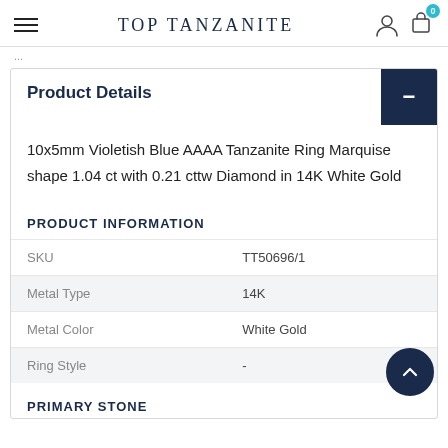TOP TANZANITE
Product Details
10x5mm Violetish Blue AAAA Tanzanite Ring Marquise shape 1.04 ct with 0.21 cttw Diamond in 14K White Gold
PRODUCT INFORMATION
|  |  |
| --- | --- |
| SKU | TT50696/1 |
| Metal Type | 14K |
| Metal Color | White Gold |
| Ring Style | - |
PRIMARY STONE